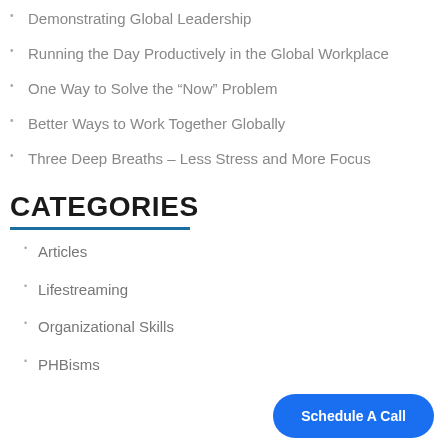Demonstrating Global Leadership
Running the Day Productively in the Global Workplace
One Way to Solve the “Now” Problem
Better Ways to Work Together Globally
Three Deep Breaths – Less Stress and More Focus
CATEGORIES
Articles
Lifestreaming
Organizational Skills
PHBisms
Schedule A Call